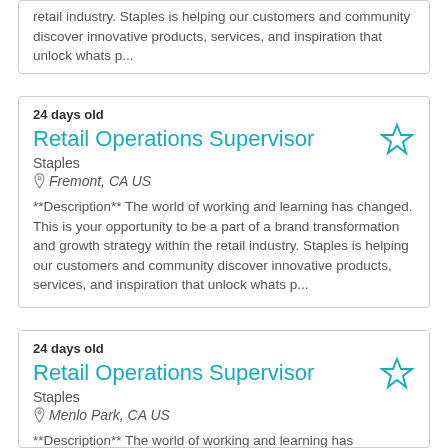retail industry. Staples is helping our customers and community discover innovative products, services, and inspiration that unlock whats p...
24 days old
Retail Operations Supervisor
Staples
Fremont, CA US
**Description** The world of working and learning has changed. This is your opportunity to be a part of a brand transformation and growth strategy within the retail industry. Staples is helping our customers and community discover innovative products, services, and inspiration that unlock whats p...
24 days old
Retail Operations Supervisor
Staples
Menlo Park, CA US
**Description** The world of working and learning has